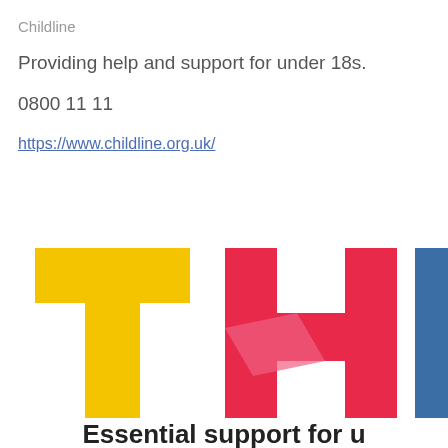Childline
Providing help and support for under 18s.
0800 11 11
https://www.childline.org.uk/
[Figure (logo): Partial logo showing large colorful letters T, H, E and part of another letter, with yellow, red, and blue block colors. Text below reads 'Essential support for u']